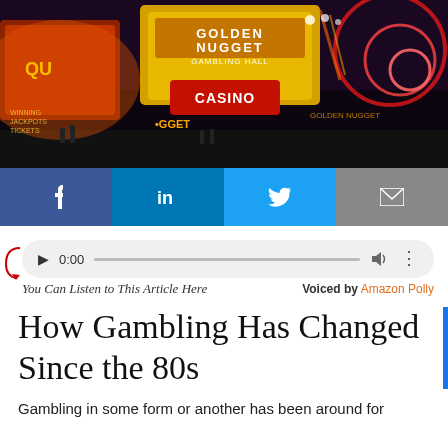[Figure (photo): Night photo of Las Vegas casino strip with Golden Nugget Gambling Hall neon signs, colorful illuminated marquees including Casino sign, dark sky background with neon lights]
[Figure (infographic): Social media sharing bar with four buttons: Facebook (f), LinkedIn (in), Twitter (bird icon), and Email (envelope icon)]
[Figure (other): Audio player widget with play button, 0:00 timestamp, progress bar, volume icon, and more options icon. Red arrow pointing to player on left side.]
You Can Listen to This Article Here    Voiced by Amazon Polly
How Gambling Has Changed Since the 80s
Gambling in some form or another has been around for